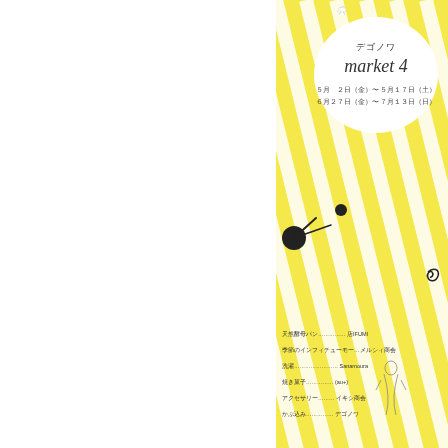[Figure (illustration): Japanese event flyer/poster for 'デゴノワ market 4' with yellow and white diagonal stripes background, decorative bird at top, clock illustration, spiral decoration, dress figure illustration, black garment at bottom right. Shows dates 5月2日(金)〜5月17日(土) and 6月27日(金)〜7月13日(日). Contains list of vendors/participants and notes.]
デゴノワマーケット4　6月27日スタート
[Figure (other): More button/link - grey button with text 'More »']